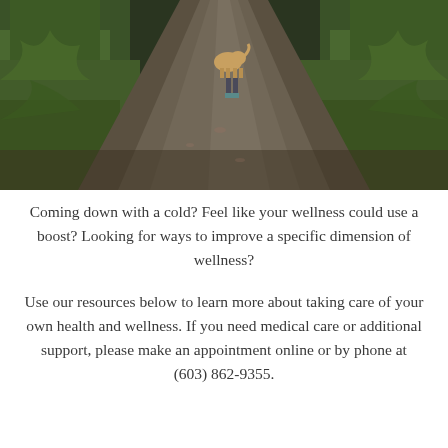[Figure (photo): Outdoor nature trail path with green grass on both sides; a person walking with a dog visible from behind on the dirt/gravel path, surrounded by lush green foliage]
Coming down with a cold? Feel like your wellness could use a boost? Looking for ways to improve a specific dimension of wellness?
Use our resources below to learn more about taking care of your own health and wellness. If you need medical care or additional support, please make an appointment online or by phone at (603) 862-9355.